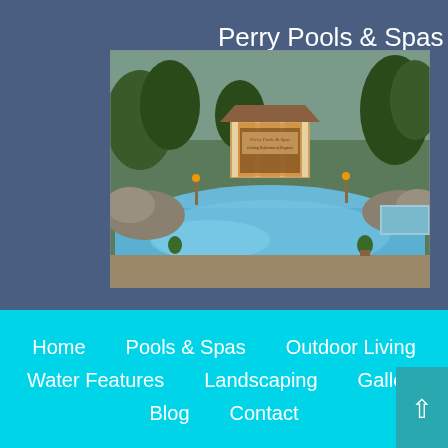Perry Pools & Spas
[Figure (photo): Outdoor pool area with gazebo, water features, and lush landscaping at Perry Pools & Spas]
Home   Pools & Spas   Outdoor Living   Water Features   Landscaping   Gallery   Blog   Contact
Designed by Cyberfix Online | Powered by QX13